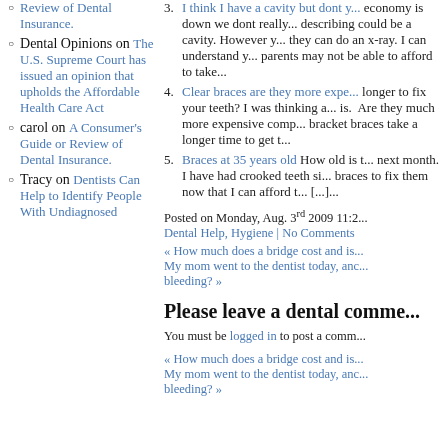Review of Dental Insurance.
Dental Opinions on The U.S. Supreme Court has issued an opinion that upholds the Affordable Health Care Act
carol on A Consumer's Guide or Review of Dental Insurance.
Tracy on Dentists Can Help to Identify People With Undiagnosed
3. I think I have a cavity but dont... economy is down we dont really... describing could be a cavity. However y... they can do an x-ray. I can understand y... parents may not be able to afford to take...
4. Clear braces are they more expe... longer to fix your teeth? I was thinking a... is. Are they much more expensive comp... bracket braces take a longer time to get t...
5. Braces at 35 years old How old is t... next month. I have had crooked teeth si... braces to fix them now that I can afford t... [...]...
Posted on Monday, Aug. 3rd 2009 11:2...
Dental Help, Hygiene | No Comments
« How much does a bridge cost and is... My mom went to the dentist today, anc... bleeding? »
Please leave a dental comme...
You must be logged in to post a comm...
« How much does a bridge cost and is... My mom went to the dentist today, anc... bleeding? »